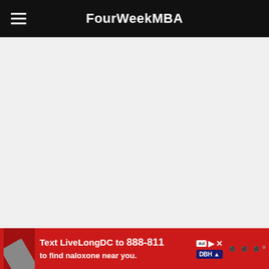FourWeekMBA
[Figure (other): Large white/light grey advertisement or content area below the navigation bar]
Build-in subsidies to kick off local markets
[Figure (other): Advertisement banner: Text LiveLongDC to 888-811 to find naloxone near you. Shows image of person, DBH logo, and other icons.]